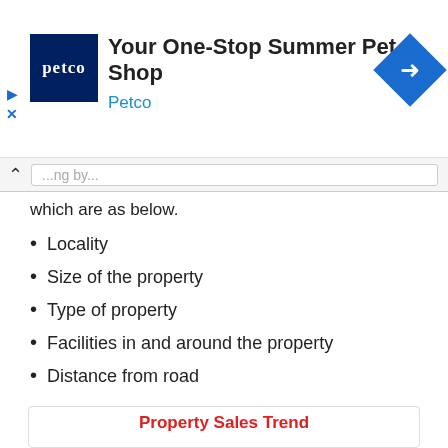[Figure (screenshot): Petco advertisement banner with Petco logo (dark blue square with white petco text), headline 'Your One-Stop Summer Pet Shop', subtext 'Petco' in blue, and a blue diamond navigation icon on the right. Play and close (X) controls on the left.]
which are as below.
Locality
Size of the property
Type of property
Facilities in and around the property
Distance from road
Parking
Neighborhood
Property Sales Trend